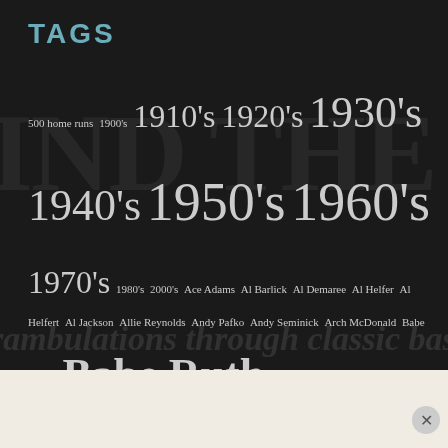TAGS
500 home runs 1900's 1910's 1920's 1930's 1940's 1950's 1960's 1970's 1980's 2000's Ace Adams Al Barlick Al Demaree Al Helfer Al Helfert Al Jackson Allie Reynolds Andy Pafko Andy Seminick Arch McDonald Babe Pinelli Babe Ruth Bain Collection Banner Day beer ben chapman Bill Finneran Bill Mazeroski Bill Terry Bill Veeck Bill Walker Billy Herman Billy Martin Bob Addis Bobby Doerr Bobby Shantz Bobby Thomson Bob Elson Bob Friend Bob Gibson Bob Johnson Bob Turley Bob Wicker Branch Rickey Brooklyn Daily Eagle Bruce Edwards Buddy Rosar Butch Henline Casey Stengel Catfish Hunter Charles Ebbets Charlie Berry Charlie Gehringer Chicago Tribune Christy Mathewson Chuck Dressen Clare Briggs
Advertisements
Need a website quickly – and on a budget?